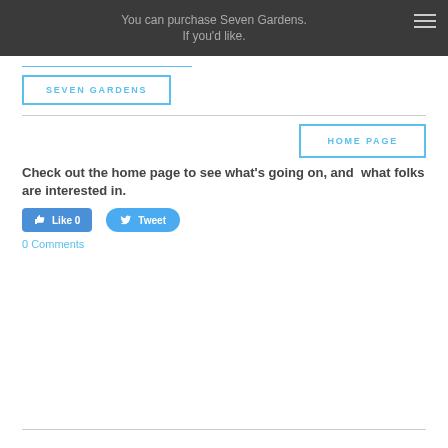You can purchase Seven Gardens. If you'd like.
SEVEN GARDENS
HOME PAGE
Check out the home page to see what's going on, and  what folks are interested in.
Like 0  Tweet
0 Comments